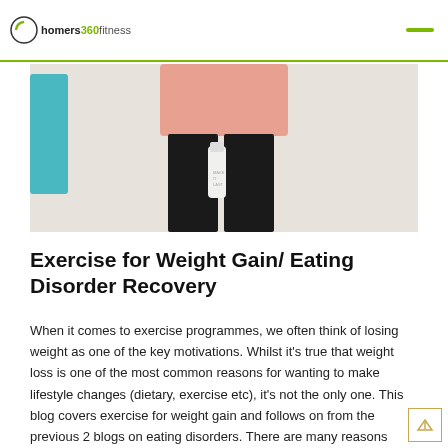homers360fitness
[Figure (photo): Photo of a person from torso down wearing a pink top and black leggings, holding a water bottle, with a blue towel visible on the left.]
Exercise for Weight Gain/ Eating Disorder Recovery
When it comes to exercise programmes, we often think of losing weight as one of the key motivations. Whilst it's true that weight loss is one of the most common reasons for wanting to make lifestyle changes (dietary, exercise etc), it's not the only one. This blog covers exercise for weight gain and follows on from the previous 2 blogs on eating disorders. There are many reasons why people may want to gain weight, but exercise shouldn't be demonised as always